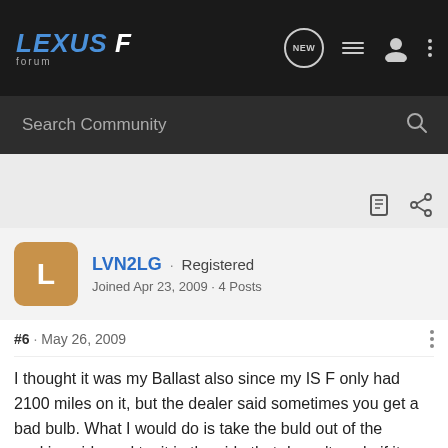LEXUS F Forum
Search Community
LVN2LG · Registered
Joined Apr 23, 2009 · 4 Posts
#6 · May 26, 2009
I thought it was my Ballast also since my IS F only had 2100 miles on it, but the dealer said sometimes you get a bad bulb. What I would do is take the buld out of the working side and try it in the side that dosen't work, if it works, problem solved, if it dosen't work, looks like a trip to the dealer!